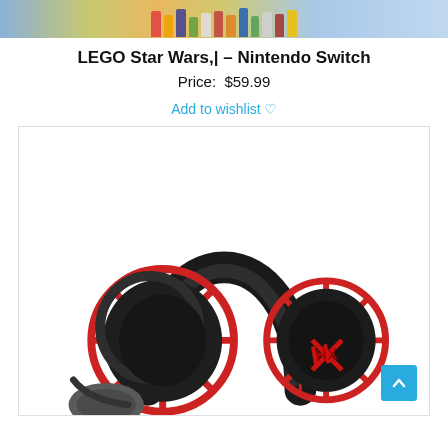[Figure (photo): Top banner image showing LEGO Star Wars game cover with colorful LEGO characters]
LEGO Star Wars,| – Nintendo Switch
Price:  $59.99
Add to wishlist ♡
[Figure (photo): HyperX Cloud Alpha gaming headset with red metal frame and black ear cups on white background. A scroll-to-top button is visible in the bottom right corner.]